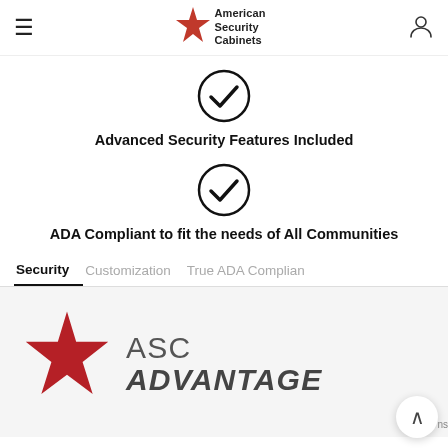American Security Cabinets
[Figure (illustration): Checkmark inside a circle icon]
Advanced Security Features Included
[Figure (illustration): Checkmark inside a circle icon]
ADA Compliant to fit the needs of All Communities
Security   Customization   True ADA Complian
[Figure (logo): ASC Advantage logo with red star and text]